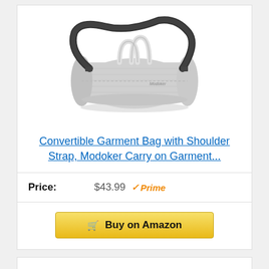[Figure (photo): Gray cylindrical duffel bag with black shoulder strap and top handles, Modoker brand logo visible on side]
Convertible Garment Bag with Shoulder Strap, Modoker Carry on Garment...
Price: $43.99 Prime
Buy on Amazon
Bestseller No. 5